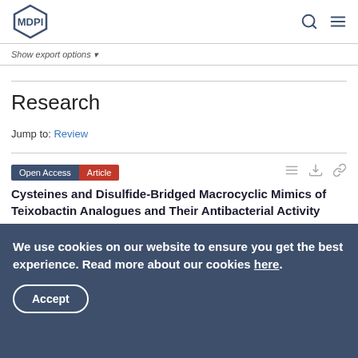MDPI
Show export options
Research
Jump to: Review
Open Access Article
Cysteines and Disulfide-Bridged Macrocyclic Mimics of Teixobactin Analogues and Their Antibacterial Activity Evaluation against Methicillin-Resistant Staphylococcus Aureus (MRSA)
We use cookies on our website to ensure you get the best experience. Read more about our cookies here.